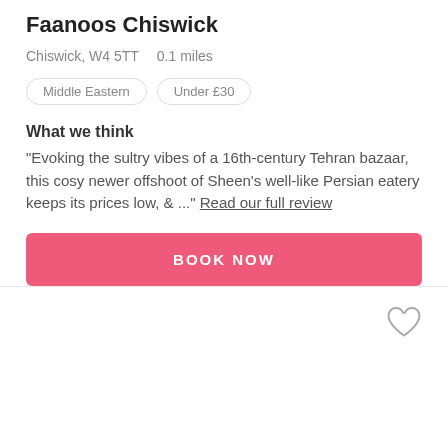Faanoos Chiswick
Chiswick, W4 5TT    0.1 miles
Middle Eastern
Under £30
What we think
"Evoking the sultry vibes of a 16th-century Tehran bazaar, this cosy newer offshoot of Sheen's well-like Persian eatery keeps its prices low, & ..." Read our full review
BOOK NOW
[Figure (illustration): Heart (favourite) icon outline in grey, positioned top-right of bottom section]